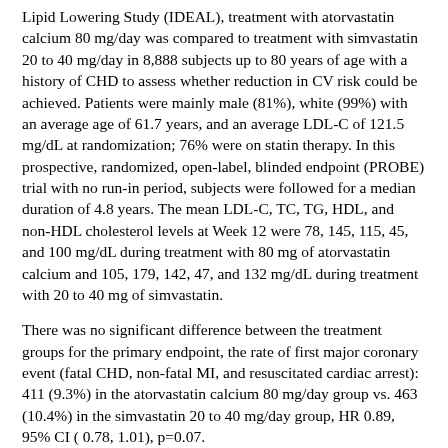Lipid Lowering Study (IDEAL), treatment with atorvastatin calcium 80 mg/day was compared to treatment with simvastatin 20 to 40 mg/day in 8,888 subjects up to 80 years of age with a history of CHD to assess whether reduction in CV risk could be achieved. Patients were mainly male (81%), white (99%) with an average age of 61.7 years, and an average LDL-C of 121.5 mg/dL at randomization; 76% were on statin therapy. In this prospective, randomized, open-label, blinded endpoint (PROBE) trial with no run-in period, subjects were followed for a median duration of 4.8 years. The mean LDL-C, TC, TG, HDL, and non-HDL cholesterol levels at Week 12 were 78, 145, 115, 45, and 100 mg/dL during treatment with 80 mg of atorvastatin calcium and 105, 179, 142, 47, and 132 mg/dL during treatment with 20 to 40 mg of simvastatin.
There was no significant difference between the treatment groups for the primary endpoint, the rate of first major coronary event (fatal CHD, non-fatal MI, and resuscitated cardiac arrest): 411 (9.3%) in the atorvastatin calcium 80 mg/day group vs. 463 (10.4%) in the simvastatin 20 to 40 mg/day group, HR 0.89, 95% CI ( 0.78, 1.01), p=0.07.
There were no significant differences between the treatment groups for all-cause mortality: 366 (8.2%) in the atorvastatin calcium 80 mg/day group vs. 374 (8.4%) in the simvastatin 20 to 40 mg/day group. The proportions of subjects who experienced CV or non-CV death were similar for the treatment and in...